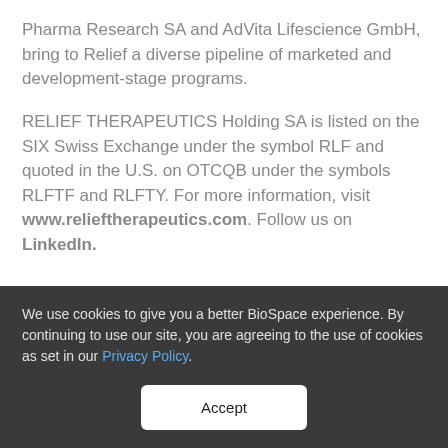Pharma Research SA and AdVita Lifescience GmbH, bring to Relief a diverse pipeline of marketed and development-stage programs.
RELIEF THERAPEUTICS Holding SA is listed on the SIX Swiss Exchange under the symbol RLF and quoted in the U.S. on OTCQB under the symbols RLFTF and RLFTY. For more information, visit www.relieftherapeutics.com. Follow us on LinkedIn.
We use cookies to give you a better BioSpace experience. By continuing to use our site, you are agreeing to the use of cookies as set in our Privacy Policy.
Accept